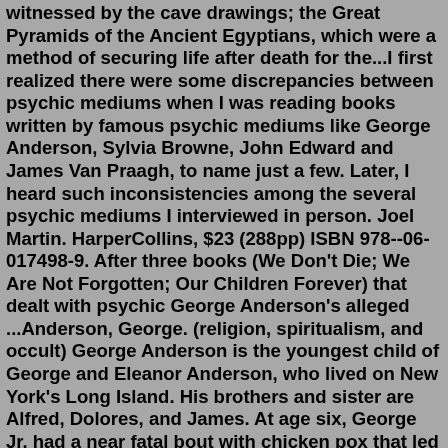witnessed by the cave drawings; the Great Pyramids of the Ancient Egyptians, which were a method of securing life after death for the...I first realized there were some discrepancies between psychic mediums when I was reading books written by famous psychic mediums like George Anderson, Sylvia Browne, John Edward and James Van Praagh, to name just a few. Later, I heard such inconsistencies among the several psychic mediums I interviewed in person. Joel Martin. HarperCollins, $23 (288pp) ISBN 978--06-017498-9. After three books (We Don't Die; We Are Not Forgotten; Our Children Forever) that dealt with psychic George Anderson's alleged ...Anderson, George. (religion, spiritualism, and occult) George Anderson is the youngest child of George and Eleanor Anderson, who lived on New York's Long Island. His brothers and sister are Alfred, Dolores, and James. At age six, George Jr. had a near fatal bout with chicken pox that led to encephalomyelitis (inflammation of the spinal cord ... healing well prostate Jun 17, 2016 · Psychic medium George Anderson suggests that many